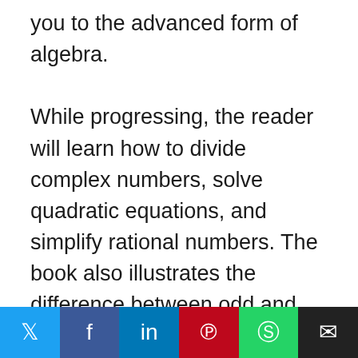you to the advanced form of algebra.

While progressing, the reader will learn how to divide complex numbers, solve quadratic equations, and simplify rational numbers. The book also illustrates the difference between odd and even functions; as a result, you will never be confused by the multiplicity of zeroes again. It also includes detailed examples to help you understand the material better, chapter-end quizzes,
Social share bar with Twitter, Facebook, LinkedIn, Pinterest, WhatsApp, Email icons